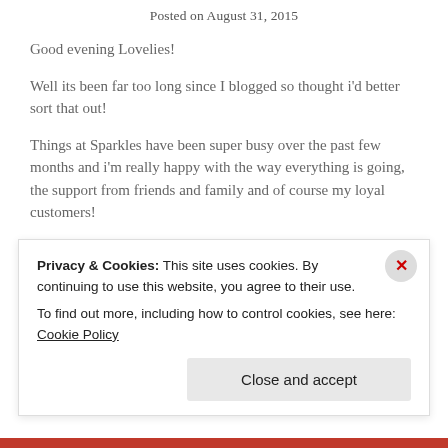Posted on August 31, 2015
Good evening Lovelies!
Well its been far too long since I blogged so thought i'd better sort that out!
Things at Sparkles have been super busy over the past few months and i'm really happy with the way everything is going, the support from friends and family and of course my loyal customers!
So last time I posted it was about upcoming shows and
Privacy & Cookies: This site uses cookies. By continuing to use this website, you agree to their use.
To find out more, including how to control cookies, see here: Cookie Policy
Close and accept